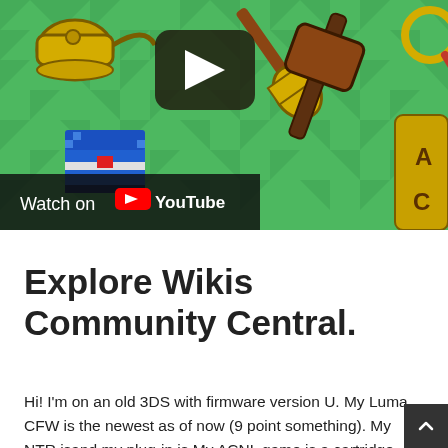[Figure (screenshot): YouTube video thumbnail showing Animal Crossing: New Leaf golden tools (watering can, shovel, hammer) on a green triangular pattern background with a play button icon in the center. A blue pixel-art chest is visible in the lower left.]
Explore Wikis Community Central.
Hi! I'm on an old 3DS with firmware version U. My Luma CFW is the newest as of now (9 point something). My NTR isand my plug-in is My ACNL game is a cartridge with the Welcome Am